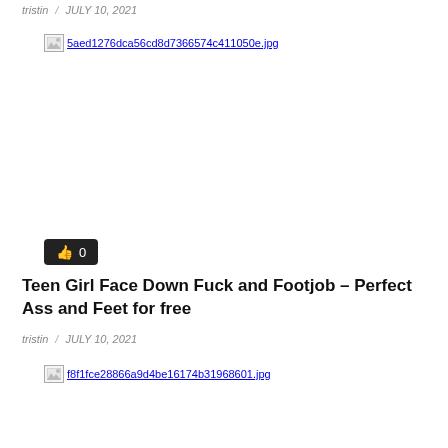tristin / JULY 10, 2021
[Figure (photo): Broken image placeholder: 5aed1276dca56cd8d7366574c411050e.jpg]
👍 0
Teen Girl Face Down Fuck and Footjob – Perfect Ass and Feet for free
tristin / JULY 10, 2021
[Figure (photo): Broken image placeholder: f8f1fce28866a9d4be16174b31968601.jpg]